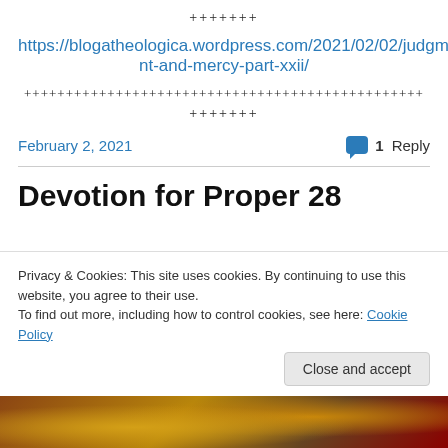+++++++
https://blogatheologica.wordpress.com/2021/02/02/judgment-and-mercy-part-xxii/
++++++++++++++++++++++++++++++++++++++++++++++++
+++++++
February 2, 2021
1 Reply
Devotion for Proper 28
Privacy & Cookies: This site uses cookies. By continuing to use this website, you agree to their use.
To find out more, including how to control cookies, see here: Cookie Policy
Close and accept
[Figure (photo): Bottom strip showing a partial image, warm brown/gold tones]